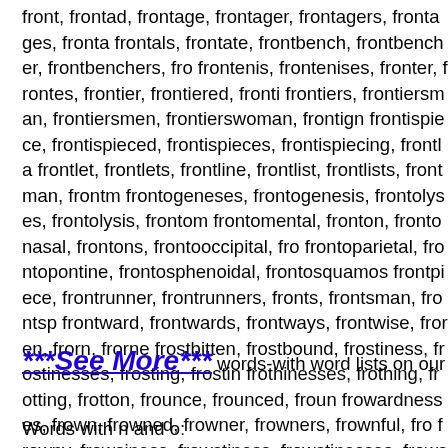front, frontad, frontage, frontager, frontagers, frontages, frontals, frontate, frontbench, frontbencher, frontbenchers, frontenis, frontenises, fronter, frontes, frontier, frontiered, frontiers, frontiersman, frontiersmen, frontierswoman, frontignac, frontispiece, frontispieced, frontispieces, frontispiecing, frontlet, frontlets, frontline, frontlist, frontlists, frontman, frontogeneses, frontogenesis, frontolyses, frontolysis, frontomental, fronton, frontonasal, frontons, frontooccipital, frontoparietal, frontopontine, frontosphenoidal, frontosquamosal, frontpiece, frontrunner, frontrunners, fronts, frontsman, frontward, frontwards, frontways, frontwise, froren, frorn, frostbitten, frostbound, frostiness, frostinesses, frosting, frothinesses, frothing, frotting, frotton, frounce, frounced, frowardnesses, frown, frowned, frowner, frowners, frownful, frowny, frowsiness, frowstiness, frowstinesses, frowsting, frozenly, frozenness, frozennesses, fructiferousness, fructuation, fructuations, fructuousness, frugiferousness, frumentaceous, frumentarious, frumentation, frumentations, fru
***See More*** words-with word lists on our other page
Words with n and o: